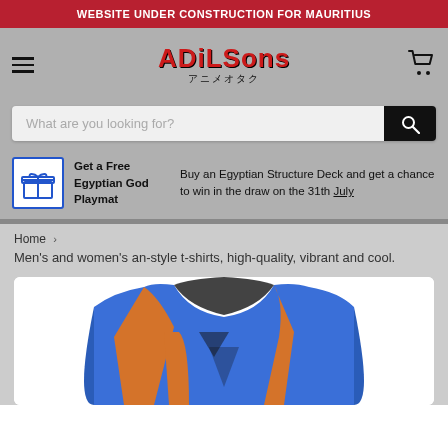WEBSITE UNDER CONSTRUCTION FOR MAURITIUS
[Figure (logo): Adilsons anime otaku logo in red with Japanese text below]
What are you looking for?
Get a Free Egyptian God Playmat
Buy an Egyptian Structure Deck and get a chance to win in the draw on the 31th July
Home > Men's and women's an-style t-shirts, high-quality, vibrant and cool.
[Figure (photo): Blue and orange anime-style t-shirt product photo]